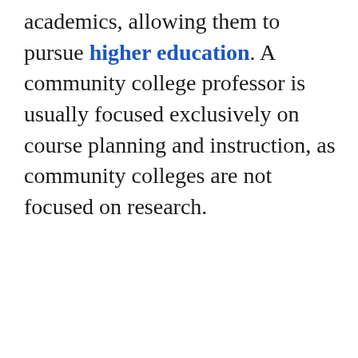academics, allowing them to pursue higher education. A community college professor is usually focused exclusively on course planning and instruction, as community colleges are not focused on research.